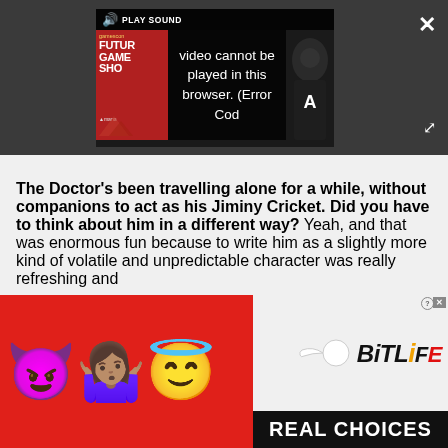[Figure (screenshot): Video player showing error message: 'Video cannot be played in this browser. (Error Cod' with PLAY SOUND button at top, Future Games Show branding on left, and character image on right. Dark gray browser chrome with X close button and expand/fullscreen button.]
The Doctor's been travelling alone for a while, without companions to act as his Jiminy Cricket. Did you have to think about him in a different way? Yeah, and that was enormous fun because to write him as a slightly more kind of volatile and unpredictable character was really refreshing and
[Figure (screenshot): BitLife advertisement banner with red background showing devil emoji, woman shrugging emoji, angel emoji, sperm icon, BitLife logo, and REAL CHOICES text in black bar at bottom.]